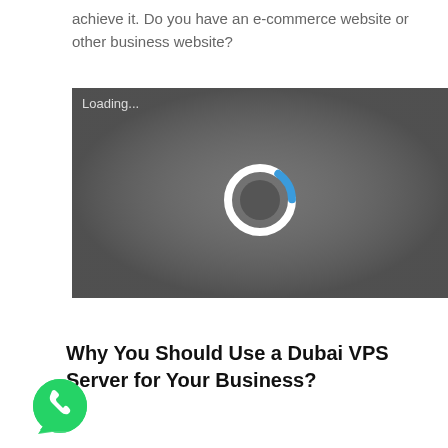achieve it. Do you have an e-commerce website or other business website?
[Figure (screenshot): Video player loading screen with dark gray background and white/blue loading spinner in the center. 'Loading...' text appears in top-left corner.]
Why You Should Use a Dubai VPS Server for Your Business?